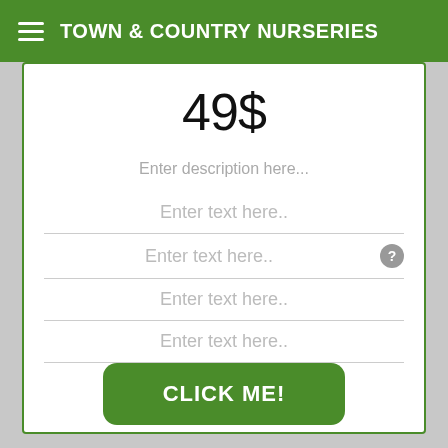TOWN & COUNTRY NURSERIES
49$
Enter description here...
Enter text here..
Enter text here..
Enter text here..
Enter text here..
CLICK ME!